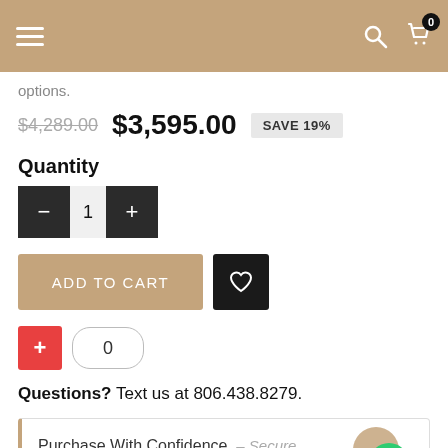[Figure (screenshot): Navigation bar with hamburger menu, search icon, and cart icon with badge showing 0]
options.
$4,289.00  $3,595.00  SAVE 19%
Quantity
[Figure (other): Quantity selector with minus button, value 1, and plus button]
[Figure (other): Add to Cart button and wishlist heart button]
[Figure (other): Red plus compare button and compare count showing 0]
Questions? Text us at 806.438.8279.
Purchase With Confidence – Secure Payments